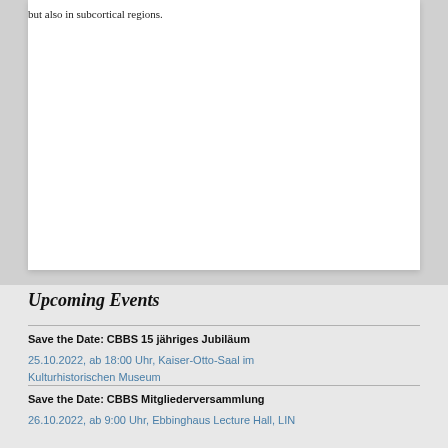but also in subcortical regions.
Upcoming Events
Save the Date: CBBS 15 jähriges Jubiläum
25.10.2022, ab 18:00 Uhr, Kaiser-Otto-Saal im Kulturhistorischen Museum
Save the Date: CBBS Mitgliederversammlung
26.10.2022, ab 9:00 Uhr, Ebbinghaus Lecture Hall, LIN